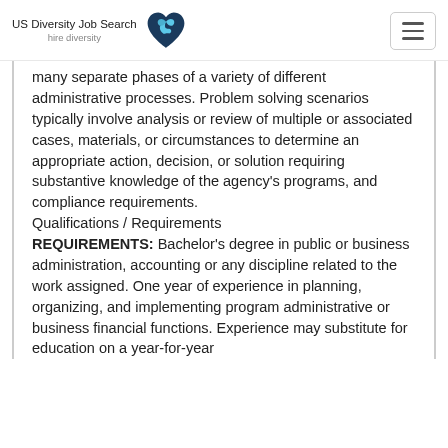US Diversity Job Search hire diversity
many separate phases of a variety of different administrative processes. Problem solving scenarios typically involve analysis or review of multiple or associated cases, materials, or circumstances to determine an appropriate action, decision, or solution requiring substantive knowledge of the agency's programs, and compliance requirements.
Qualifications / Requirements
REQUIREMENTS: Bachelor's degree in public or business administration, accounting or any discipline related to the work assigned. One year of experience in planning, organizing, and implementing program administrative or business financial functions. Experience may substitute for education on a year-for-year